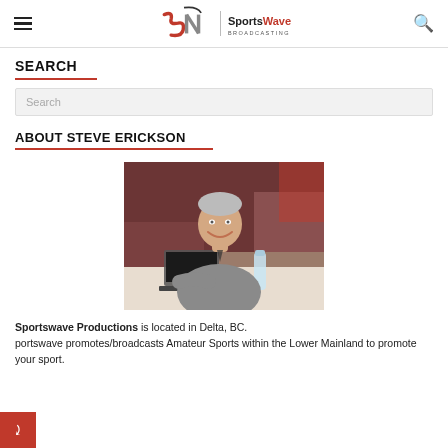SportsWave Broadcasting
SEARCH
Search
ABOUT STEVE ERICKSON
[Figure (photo): Photo of Steve Erickson, a middle-aged man smiling, seated at a table with a laptop and water bottle, in what appears to be a gymnasium or sports venue setting.]
Sportswave Productions is located in Delta, BC. Sportswave promotes/broadcasts Amateur Sports within the Lower Mainland to promote your sport.